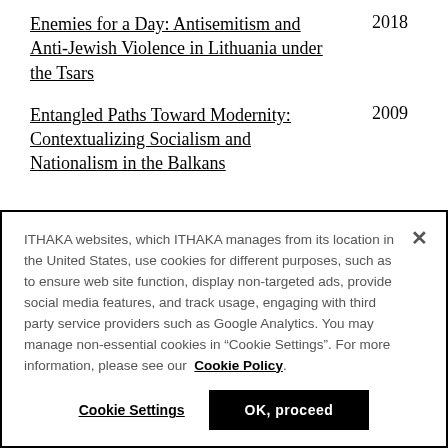Enemies for a Day: Antisemitism and Anti-Jewish Violence in Lithuania under the Tsars    2018
Entangled Paths Toward Modernity: Contextualizing Socialism and Nationalism in the Balkans    2009
ITHAKA websites, which ITHAKA manages from its location in the United States, use cookies for different purposes, such as to ensure web site function, display non-targeted ads, provide social media features, and track usage, engaging with third party service providers such as Google Analytics. You may manage non-essential cookies in “Cookie Settings”. For more information, please see our  Cookie Policy.
Cookie Settings    OK, proceed